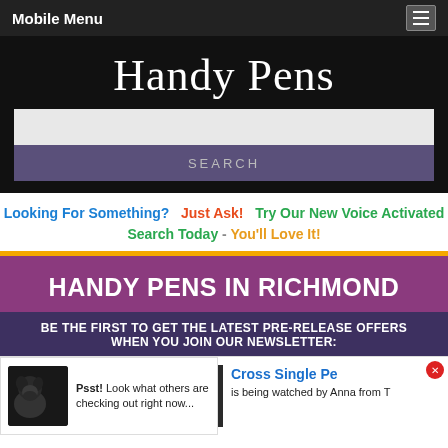Mobile Menu
Handy Pens
SEARCH
Looking For Something?  Just Ask!  Try Our New Voice Activated Search Today - You'll Love It!
HANDY PENS IN RICHMOND
BE THE FIRST TO GET THE LATEST PRE-RELEASE OFFERS WHEN YOU JOIN OUR NEWSLETTER:
Psst! Look what others are checking out right now...
Cross Single Pe... is being watched by Anna from T...